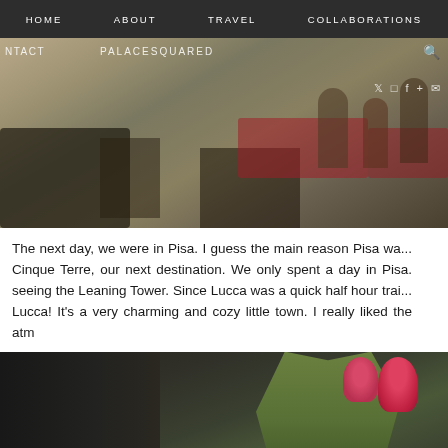HOME  ABOUT  TRAVEL  COLLABORATIONS
[Figure (photo): Outdoor cafe/piazza scene with people sitting at tables with red tablecloths, stone pavement, overlaid with blog navigation showing NTACT, PALACESQUARED, and social media icons (Twitter, Instagram, Facebook, Plus, Email)]
The next day, we were in Pisa. I guess the main reason Pisa was on our itinerary was because it was on the way to Cinque Terre, our next destination. We only spent a day in Pisa. Of course that included seeing the Leaning Tower. Since Lucca was a quick half hour train ride away, we also visited Lucca! It's a very charming and cozy little town. I really liked the atm
[Figure (photo): Close-up photo of a cafe table with green plant/flowers (tulips visible), bread, and a tablet device, dark interior setting]